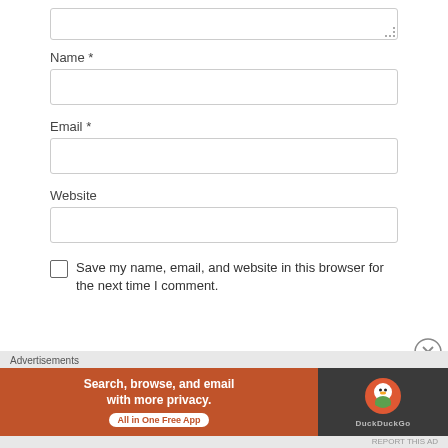Name *
Email *
Website
Save my name, email, and website in this browser for the next time I comment.
[Figure (screenshot): DuckDuckGo advertisement banner: 'Search, browse, and email with more privacy. All in One Free App' with DuckDuckGo logo on dark background]